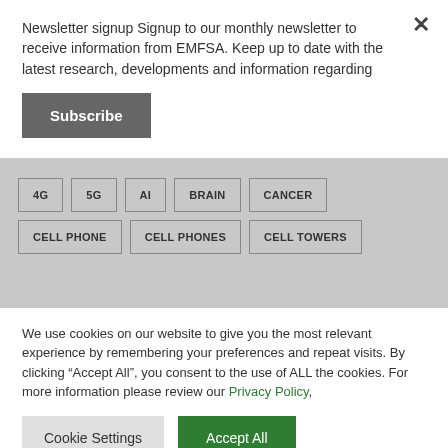Newsletter signup Signup to our monthly newsletter to receive information from EMFSA. Keep up to date with the latest research, developments and information regarding
Subscribe
4G
5G
AI
BRAIN
CANCER
CELL PHONE
CELL PHONES
CELL TOWERS
We use cookies on our website to give you the most relevant experience by remembering your preferences and repeat visits. By clicking “Accept All”, you consent to the use of ALL the cookies. For more information please review our Privacy Policy,
Cookie Settings
Accept All